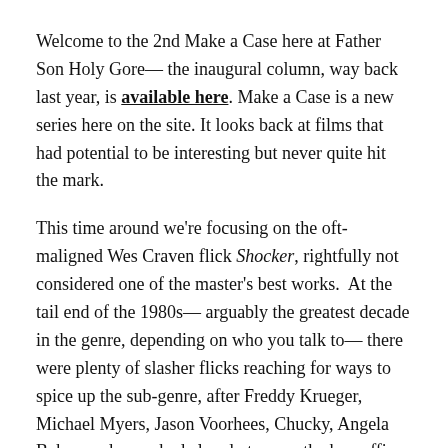Welcome to the 2nd Make a Case here at Father Son Holy Gore— the inaugural column, way back last year, is available here. Make a Case is a new series here on the site. It looks back at films that had potential to be interesting but never quite hit the mark.
This time around we're focusing on the oft-maligned Wes Craven flick Shocker, rightfully not considered one of the master's best works.  At the tail end of the 1980s— arguably the greatest decade in the genre, depending on who you talk to— there were plenty of slasher flicks reaching for ways to spice up the sub-genre, after Freddy Krueger, Michael Myers, Jason Voorhees, Chucky, Angela Baker, and more had already torn up the box office to various degrees.
Craven tried to write another supernatural-style villain, miles away from Freddy. He combined the old myth of a prisoner surviving the electric chair with technology,